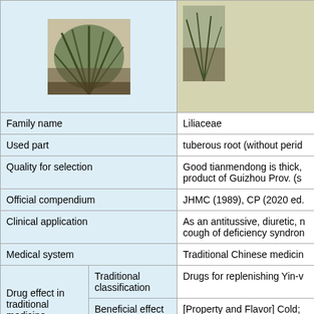[Figure (photo): Photo of a plant with long dark green/brown grass-like leaves, appears to be Asparagus cochinchinensis (tianmendong)]
| Family name |  | Liliaceae |
| Used part |  | tuberous root (without perid... |
| Quality for selection |  | Good tianmendong is thick, ... product of Guizhou Prov. (s... |
| Official compendium |  | JHMC (1989), CP (2020 ed.... |
| Clinical application |  | As an antitussive, diuretic, n... cough of deficiency syndron... |
| Medical system |  | Traditional Chinese medicin... |
| Drug effect in traditional medicine | Traditional classification | Drugs for replenishing Yin-v... |
| Drug effect in traditional medicine | Beneficial effect | [Property and Flavor] Cold; [Meridian Tropism] Lung an... [Actions] To nourish yin and... |